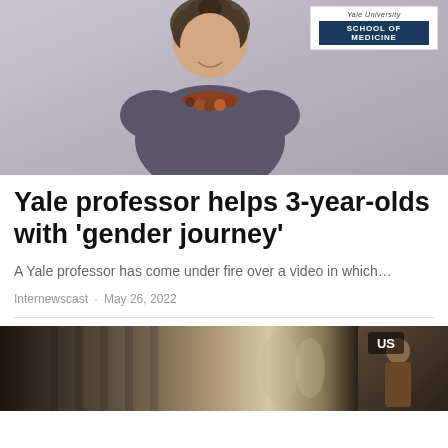[Figure (photo): A woman smiling, wearing a dark top and colorful beaded necklace, with a Yale University School of Medicine badge/sign visible in the upper right corner]
Yale professor helps 3-year-olds with ‘gender journey’
A Yale professor has come under fire over a video in which…
Internewscast · May 26, 2022
[Figure (photo): A building with columns and artwork visible, with a person in brown coat at the right side; 'US' label overlay in top right corner]